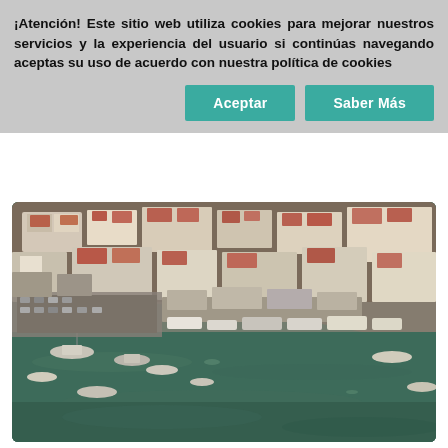¡Atención! Este sitio web utiliza cookies para mejorar nuestros servicios y la experiencia del usuario si continúas navegando aceptas su uso de acuerdo con nuestra política de cookies
[Figure (other): Two buttons: 'Aceptar' and 'Saber Más' in teal/green color]
[Figure (photo): Aerial photograph of a coastal Spanish town with a harbor, fishing boats docked along the waterfront, white and terracotta-roofed buildings, and green water.]